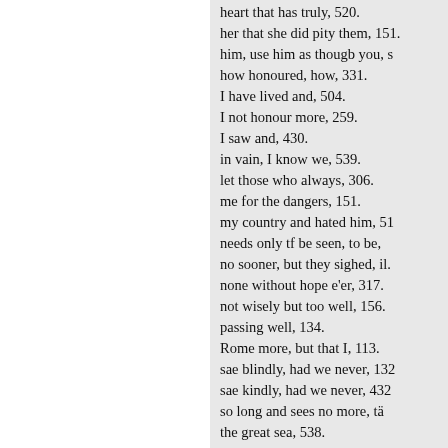heart that has truly, 520.
her that she did pity them, 151.
him, use him as thougb you, s
how honoured, how, 331.
I have lived and, 504.
I not honour more, 259.
I saw and, 430.
in vain, I know we, 539.
let those who always, 306.
me for the dangers, 151.
my country and hated him, 51
needs only tf be seen, to be,
no sooner, but they sighed, il.
none without hope e'er, 317.
not wisely but too well, 156.
passing well, 134.
Rome more, but that I, 113.
sae blindly, had we never, 132
sae kindly, had we never, 432
so long and sees no more, tä
the great sea, 538.
the mourned the lost, the, 345
the world, I have not, 511,
to plead lament and sue